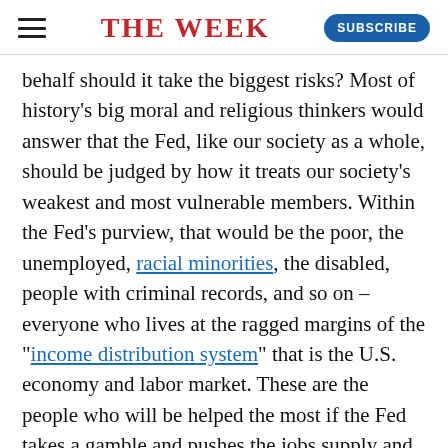THE WEEK
behalf should it take the biggest risks? Most of history's big moral and religious thinkers would answer that the Fed, like our society as a whole, should be judged by how it treats our society's weakest and most vulnerable members. Within the Fed's purview, that would be the poor, the unemployed, racial minorities, the disabled, people with criminal records, and so on – everyone who lives at the ragged margins of the "income distribution system" that is the U.S. economy and labor market. These are the people who will be helped the most if the Fed takes a gamble and pushes the jobs supply and wage growth as high as possible. And they'll be the first to pay the